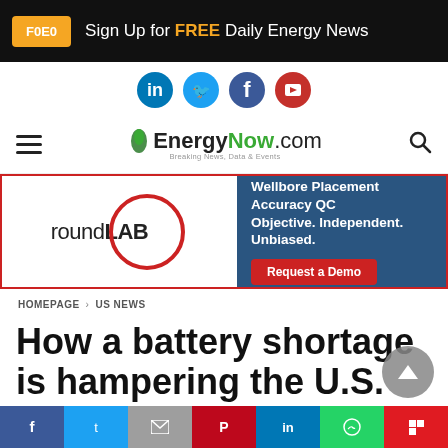F0E0  Sign Up for FREE Daily Energy News
[Figure (logo): Social media icons row: LinkedIn, Twitter, Facebook, YouTube]
EnergyNow.com — Breaking News, Data & Events
[Figure (infographic): roundLAB advertisement banner — Wellbore Placement Accuracy QC. Objective. Independent. Unbiased. Request a Demo]
HOMEPAGE > US NEWS
How a battery shortage is hampering the U.S. switch
Página traducible | ภาษาไทย | Página traduzível | اردو ترجمہ
[Figure (infographic): Share buttons row: Facebook, Twitter, Email, Pinterest, LinkedIn, WhatsApp, Flipboard]